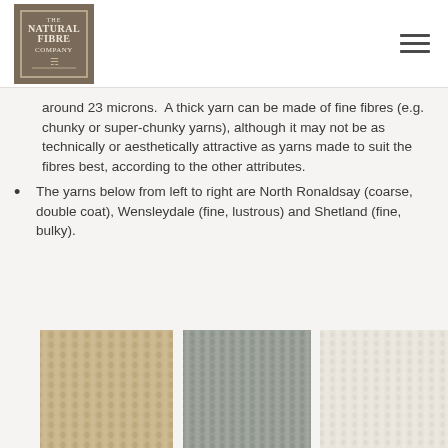The Natural Fibre Company
around 23 microns.  A thick yarn can be made of fine fibres (e.g. chunky or super-chunky yarns), although it may not be as technically or aesthetically attractive as yarns made to suit the fibres best, according to the other attributes.
The yarns below from left to right are North Ronaldsay (coarse, double coat), Wensleydale (fine, lustrous) and Shetland (fine, bulky).
[Figure (photo): Three knitted fabric swatches side by side: left swatch is warm beige/tan, middle swatch is grey, right swatch is off-white/cream. Showing different yarn textures.]